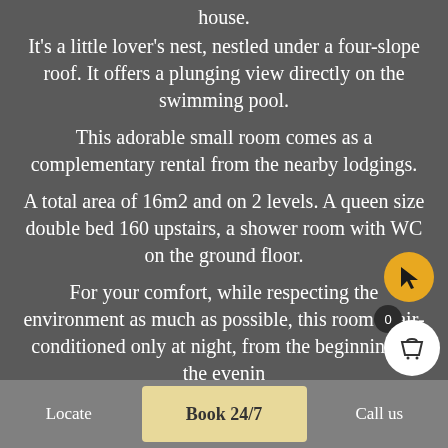house. It's a little lover's nest, nestled under a four-slope roof. It offers a plunging view directly on the swimming pool. This adorable small room comes as a complementary rental from the nearby lodgings. A total area of 16m2 and on 2 levels. A queen size double bed 160 upstairs, a shower room with WC on the ground floor. For your comfort, while respecting the environment as much as possible, this room is air-conditioned only at night, from the beginning of the evening until
Locate | Book 24/7 | Call us